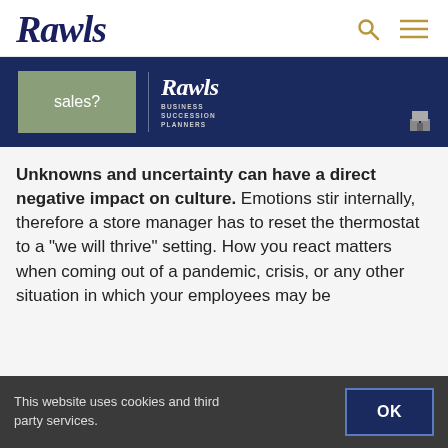Rawls
[Figure (screenshot): Banner image with dark blue background, green box with text 'sales?', Rawls Business Succession Planners logo, and small building icon]
Unknowns and uncertainty can have a direct negative impact on culture. Emotions stir internally, therefore a store manager has to reset the thermostat to a “we will thrive” setting. How you react matters when coming out of a pandemic, crisis, or any other situation in which your employees may be
This website uses cookies and third party services.